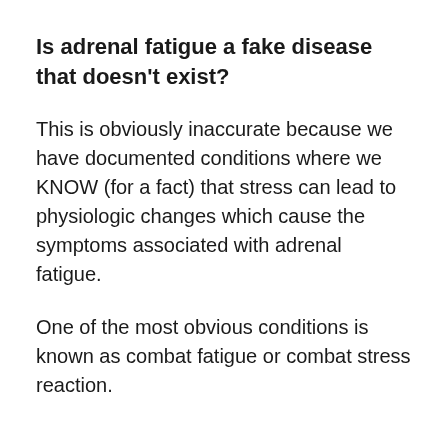Is adrenal fatigue a fake disease that doesn't exist?
This is obviously inaccurate because we have documented conditions where we KNOW (for a fact) that stress can lead to physiologic changes which cause the symptoms associated with adrenal fatigue.
One of the most obvious conditions is known as combat fatigue or combat stress reaction.